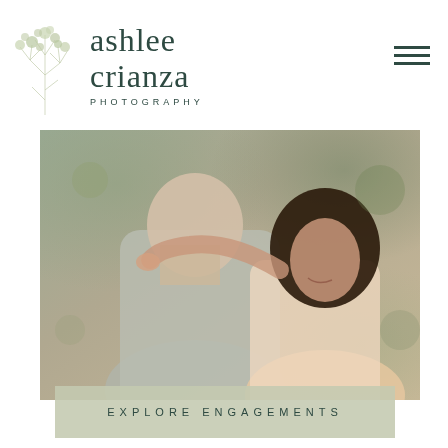[Figure (logo): Ashlee Crianza Photography logo with illustrated tree icon on left and brand name in dark green serif font, with PHOTOGRAPHY in spaced caps below. Hamburger menu icon top right.]
[Figure (photo): Romantic engagement photo of a couple embracing outdoors. A woman with long dark hair smiles while hugging a man from behind, resting her chin near his shoulder. Soft natural green/brown bokeh background.]
EXPLORE ENGAGEMENTS